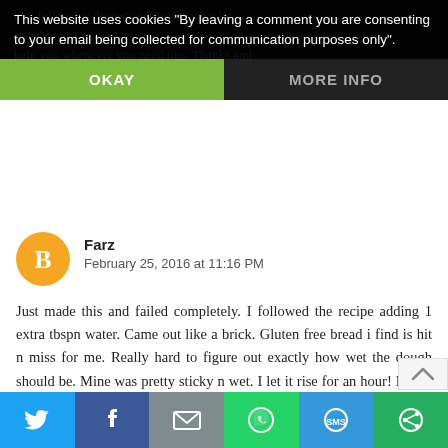him follow his doctor's advice on what he should eat. I will help you whenever you need tips. Thanks and best wishes
This website uses cookies "By leaving a comment you are consenting to your email being collected for communication purposes only".
OKAY
MORE INFO
Farz
February 25, 2016 at 11:16 PM
Just made this and failed completely. I followed the recipe adding 1 extra tbspn water. Came out like a brick. Gluten free bread i find is hit n miss for me. Really hard to figure out exactly how wet the dough should be. Mine was pretty sticky n wet. I let it rise for an hour! No go for me ugh
Reply